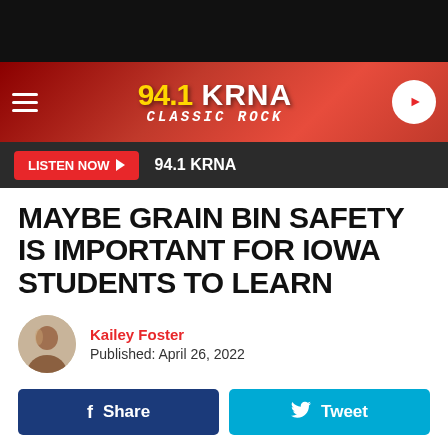[Figure (logo): 94.1 KRNA Classic Rock radio station logo on red gradient banner with hamburger menu and play button]
LISTEN NOW ▶  94.1 KRNA
MAYBE GRAIN BIN SAFETY IS IMPORTANT FOR IOWA STUDENTS TO LEARN
Kailey Foster
Published: April 26, 2022
f Share   Tweet
Farming is a dangerous occupation. Actually, the National Institute for Occupational Safety and Health considers it to